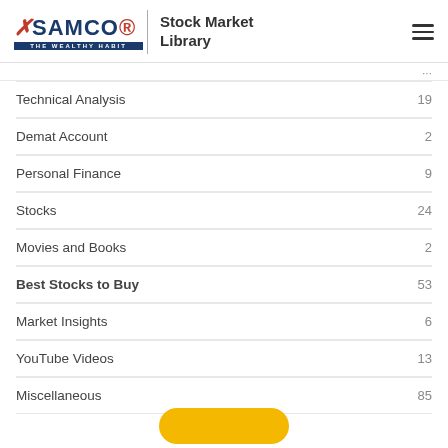SAMCO — The Wealthy Habit | Stock Market Library
Technical Analysis  19
Demat Account  2
Personal Finance  9
Stocks  24
Movies and Books  2
Best Stocks to Buy  53
Market Insights  6
YouTube Videos  13
Miscellaneous  85